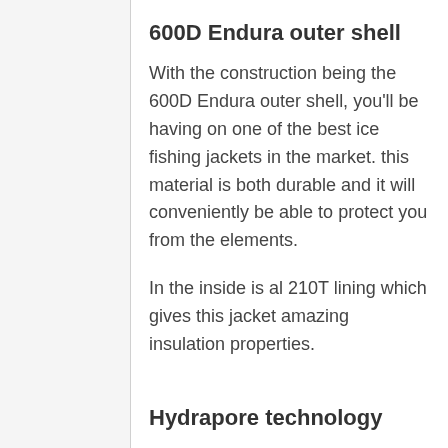600D Endura outer shell
With the construction being the 600D Endura outer shell, you'll be having on one of the best ice fishing jackets in the market. this material is both durable and it will conveniently be able to protect you from the elements.
In the inside is al 210T lining which gives this jacket amazing insulation properties.
Hydrapore technology
The Hydrapore technology is 5000 waterproof and breathable. This means the jacket will be letting out